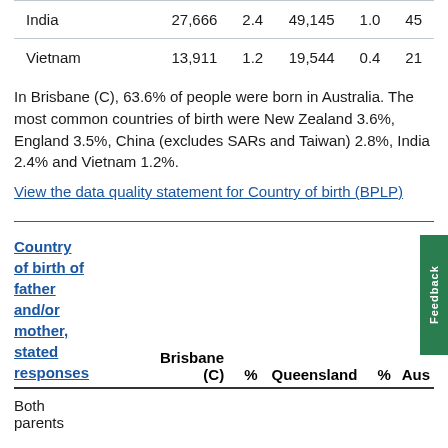|  | Brisbane (C) | % | Queensland | % | Aus |
| --- | --- | --- | --- | --- | --- |
| India | 27,666 | 2.4 | 49,145 | 1.0 | 45 |
| Vietnam | 13,911 | 1.2 | 19,544 | 0.4 | 21 |
In Brisbane (C), 63.6% of people were born in Australia. The most common countries of birth were New Zealand 3.6%, England 3.5%, China (excludes SARs and Taiwan) 2.8%, India 2.4% and Vietnam 1.2%.
View the data quality statement for Country of birth (BPLP)
| Country of birth of father and/or mother, stated responses | Brisbane (C) | % | Queensland | % | Aus |
| --- | --- | --- | --- | --- | --- |
| Both parents |  |  |  |  |  |